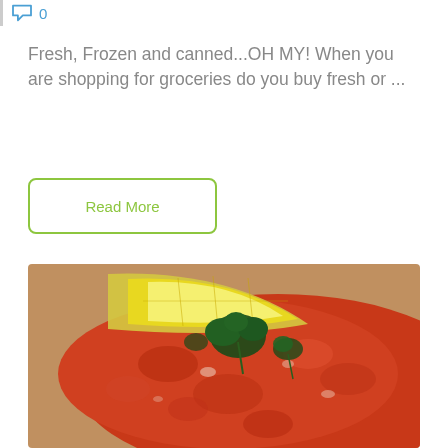0
Fresh, Frozen and canned...OH MY! When you are shopping for groceries do you buy fresh or ...
Read More
[Figure (photo): Close-up photo of a baked fish dish topped with tomato sauce and herbs, garnished with a lemon wedge and fresh parsley]